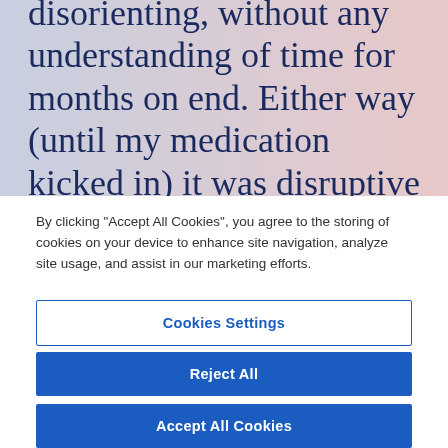disorienting, without any understanding of time for months on end. Either way (until my medication kicked in) it was disruptive and worrying for my friends, colleagues and family.
By clicking "Accept All Cookies", you agree to the storing of cookies on your device to enhance site navigation, analyze site usage, and assist in our marketing efforts.
Cookies Settings
Reject All
Accept All Cookies